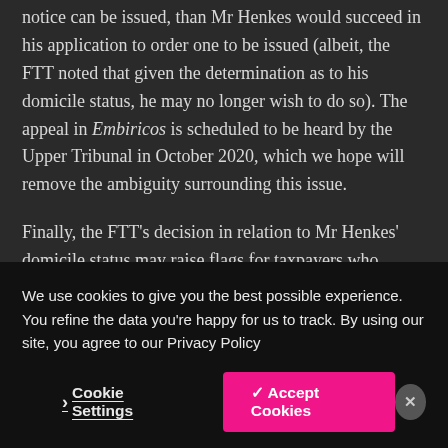notice can be issued, than Mr Henkes would succeed in his application to order one to be issued (albeit, the FTT noted that given the determination as to his domicile status, he may no longer wish to do so). The appeal in Embiricos is scheduled to be heard by the Upper Tribunal in October 2020, which we hope will remove the ambiguity surrounding this issue.
Finally, the FTT's decision in relation to Mr Henkes' domicile status may raise flags for taxpayers who consider themselves to be non-domiciled on the basis that they intend to leave the UK on retirement. Whilst every domicile case turns on its own facts, in this age of technology which enables people to continue working
We use cookies to give you the best possible experience. You refine the data you're happy for us to track. By using our site, you agree to our Privacy Policy